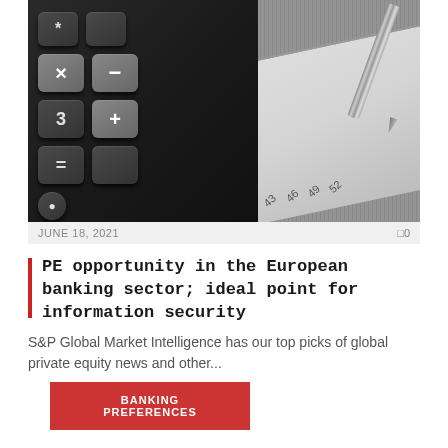[Figure (photo): Close-up photo of a dark calculator with grey keys showing arithmetic symbols and numbers, next to a striped notebook/ruler with visible measurement numbers and a silver pen in the background.]
JUNE 18, 2021
0
PE opportunity in the European banking sector; ideal point for information security
S&P Global Market Intelligence has our top picks of global private equity news and other...
BANKING PREFERENCES